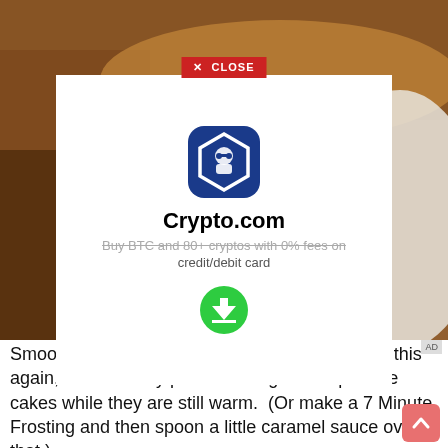[Figure (photo): Close-up photo of caramel/chocolate frosted cake with a white plate visible on the right side]
[Figure (screenshot): Crypto.com advertisement modal overlay with app icon, title 'Crypto.com', strikethrough text about buying crypto, credit/debit card text, and a green download button. Has an X CLOSE button at top.]
Smooth it out a little if necessary.  When I make this again, I will actually pour the icing over top of the cakes while they are still warm.  (Or make a 7 Minute Frosting and then spoon a little caramel sauce over that.)
Set aside and let it set up, then cut and eat it .